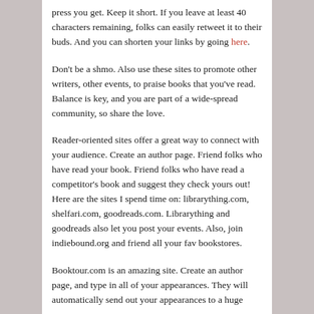press you get.  Keep it short. If you leave at least 40 characters remaining, folks can easily retweet it to their buds.  And you can shorten your links by going here.
Don't be a shmo. Also use these sites to promote other writers, other events, to praise books that you've read. Balance is key, and you are part of a wide-spread community, so share the love.
Reader-oriented sites offer a great way to connect with your audience. Create an author page. Friend folks who have read your book. Friend folks who have read a competitor's book and suggest they check yours out! Here are the sites I spend time on: librarything.com, shelfari.com, goodreads.com.  Librarything and goodreads also let you post your events. Also, join indiebound.org and friend all your fav bookstores.
Booktour.com is an amazing site. Create an author page, and type in all of your appearances. They will automatically send out your appearances to a huge